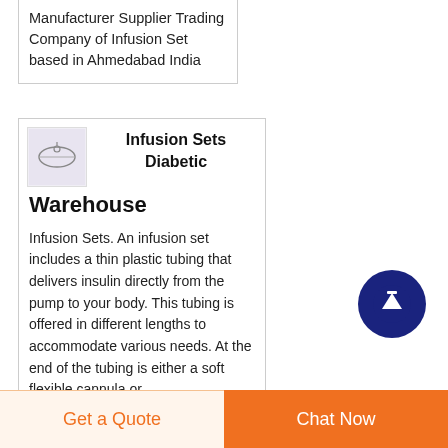Manufacturer Supplier Trading Company of Infusion Set based in Ahmedabad India
Infusion Sets Diabetic Warehouse
[Figure (photo): Small thumbnail photo of an infusion set product]
Infusion Sets. An infusion set includes a thin plastic tubing that delivers insulin directly from the pump to your body. This tubing is offered in different lengths to accommodate various needs. At the end of the tubing is either a soft flexible cannula or
[Figure (other): Scroll-to-top circular button with upward arrow, dark navy blue background]
Get a Quote
Chat Now